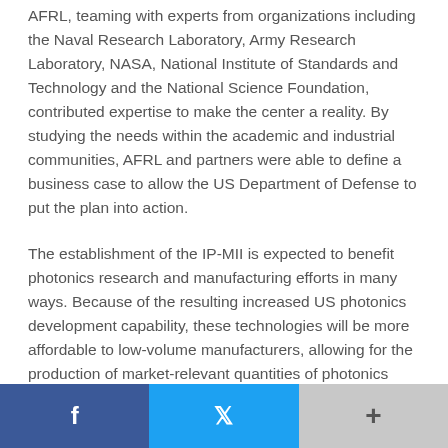AFRL, teaming with experts from organizations including the Naval Research Laboratory, Army Research Laboratory, NASA, National Institute of Standards and Technology and the National Science Foundation, contributed expertise to make the center a reality. By studying the needs within the academic and industrial communities, AFRL and partners were able to define a business case to allow the US Department of Defense to put the plan into action.
The establishment of the IP-MII is expected to benefit photonics research and manufacturing efforts in many ways. Because of the resulting increased US photonics development capability, these technologies will be more affordable to low-volume manufacturers, allowing for the production of market-relevant quantities of photonics applications. Air Force small business contracts related to photonics for military and civilian applications will now have an easier path to bring these technologies to market without the overhead typically associated with establishing production capabilities as individual private-sector businesses.